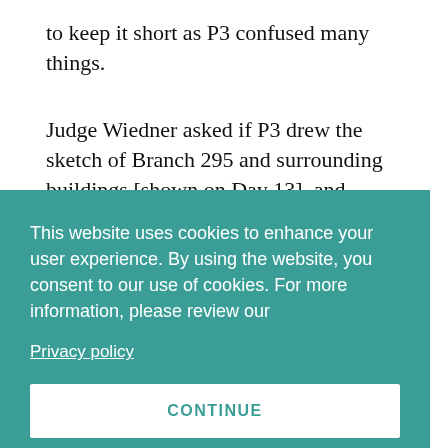to keep it short as P3 confused many things.
Judge Wiedner asked if P3 drew the sketch of Branch 295 and surrounding buildings [shown on Day 13], and Alexander affirmed. Wiedner asked if P3 recognised the place, and said he
[Figure (screenshot): Cookie consent banner overlay with teal background. Text reads: 'This website uses cookies to enhance your user experience. By using the website, you consent to our use of cookies. For more information, please review our' followed by a 'Privacy policy' link. Below is a white 'CONTINUE' button with teal text.]
lists needed to be delivered.